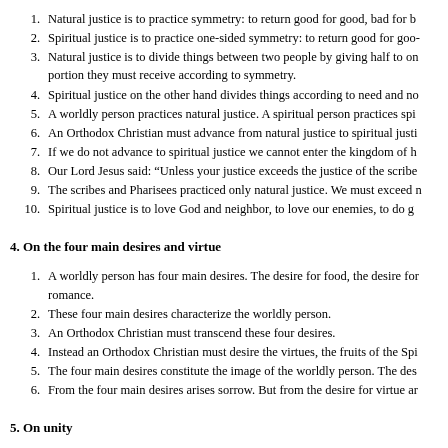1. Natural justice is to practice symmetry: to return good for good, bad for b
2. Spiritual justice is to practice one-sided symmetry: to return good for goo-
3. Natural justice is to divide things between two people by giving half to on portion they must receive according to symmetry.
4. Spiritual justice on the other hand divides things according to need and no
5. A worldly person practices natural justice. A spiritual person practices spi
6. An Orthodox Christian must advance from natural justice to spiritual justi
7. If we do not advance to spiritual justice we cannot enter the kingdom of h
8. Our Lord Jesus said: “Unless your justice exceeds the justice of the scribe
9. The scribes and Pharisees practiced only natural justice. We must exceed n
10. Spiritual justice is to love God and neighbor, to love our enemies, to do g
4. On the four main desires and virtue
1. A worldly person has four main desires. The desire for food, the desire for romance.
2. These four main desires characterize the worldly person.
3. An Orthodox Christian must transcend these four desires.
4. Instead an Orthodox Christian must desire the virtues, the fruits of the Spi
5. The four main desires constitute the image of the worldly person. The des
6. From the four main desires arises sorrow. But from the desire for virtue ar
5. On unity
1. Can there be unity between those who keep God’s law and those who tran
2. ...